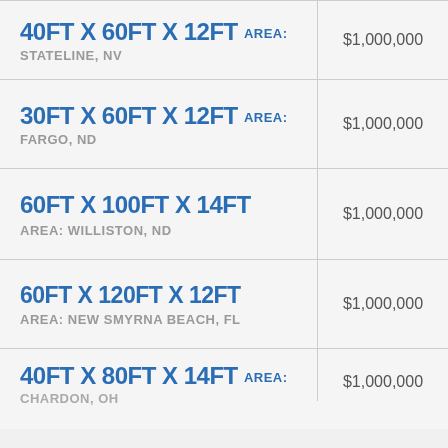| Dimensions / Area / Location | Price |
| --- | --- |
| 40FT X 60FT X 12FT AREA: STATELINE, NV | $1,000,000 |
| 30FT X 60FT X 12FT AREA: FARGO, ND | $1,000,000 |
| 60FT X 100FT X 14FT AREA: WILLISTON, ND | $1,000,000 |
| 60FT X 120FT X 12FT AREA: NEW SMYRNA BEACH, FL | $1,000,000 |
| 40FT X 80FT X 14FT AREA: CHARDON, OH | $1,000,000 |